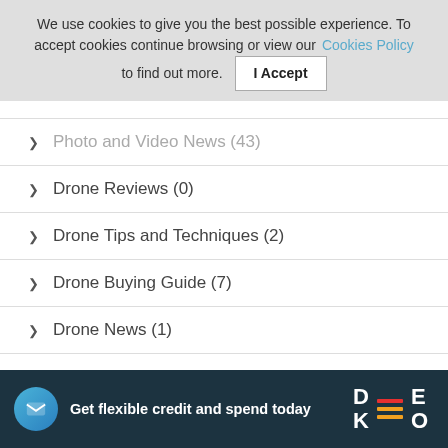We use cookies to give you the best possible experience. To accept cookies continue browsing or view our Cookies Policy to find out more. | I Accept
Photo and Video News (43)
Drone Reviews (0)
Drone Tips and Techniques (2)
Drone Buying Guide (7)
Drone News (1)
Optics Reviews (13)
Optics Tips and Techniques (5)
Get flexible credit and spend today